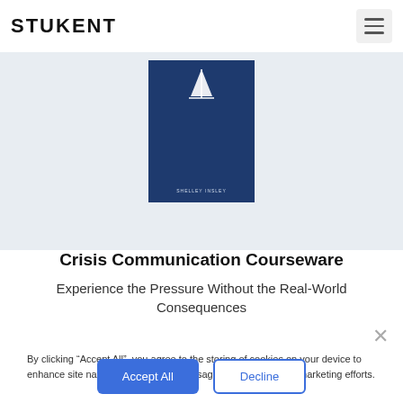STUKENT
[Figure (photo): Book cover thumbnail on light gray background — dark navy cover with a small sailboat icon and author name SHELLEY INSLEY visible at the bottom]
Crisis Communication Courseware
Experience the Pressure Without the Real-World Consequences
By clicking “Accept All”, you agree to the storing of cookies on your device to enhance site navigation, analyze site usage, and assist in our marketing efforts.